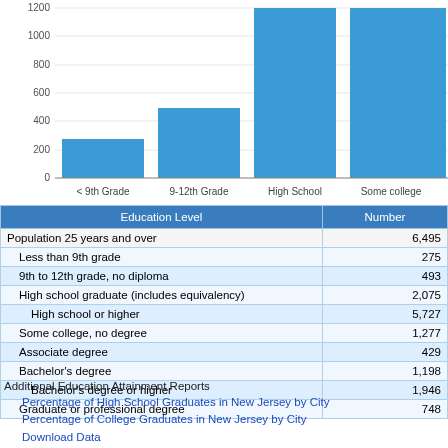[Figure (bar-chart): Education Level by Number]
| Education Level | Number |
| --- | --- |
| Population 25 years and over | 6,495 |
| Less than 9th grade | 275 |
| 9th to 12th grade, no diploma | 493 |
| High school graduate (includes equivalency) | 2,075 |
| High school or higher | 5,727 |
| Some college, no degree | 1,277 |
| Associate degree | 429 |
| Bachelor's degree | 1,198 |
| Bachelor's degree or higher | 1,946 |
| Graduate or professional degree | 748 |
Additional Education Attainment Reports
Percentage of High School Graduates in New Jersey by City
Percentage of College Graduates in New Jersey by City
Download Data